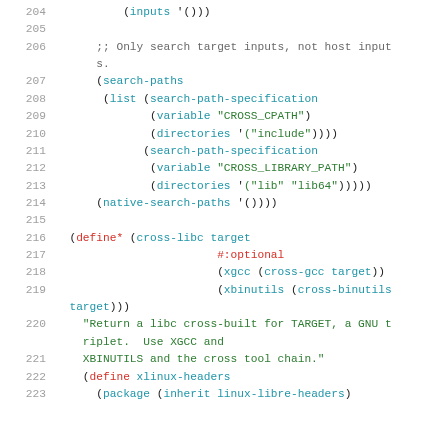[Figure (screenshot): Source code listing in Scheme/Guile language, lines 204-223, showing cross-compilation package definitions with syntax highlighting. Lines show inputs, search-paths, native-search-paths, and define* cross-libc function.]